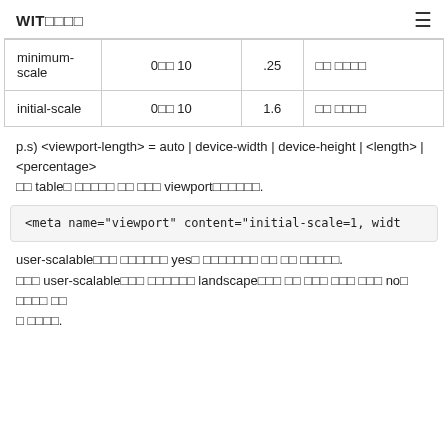WIT□□□□  ☰
| minimum-scale | 0□□ 10 | .25 | □□ □□□□ |
| initial-scale | 0□□ 10 | 1.6 | □□ □□□□ |
p.s) <viewport-length> = auto | device-width | device-height | <length> | <percentage>
□□ table□ □□□□□ □□ □□□ viewport□□□□□□.
<meta name="viewport" content="initial-scale=1, widt
user-scalable□□□ □□□□□□ yes□ □□□□□□□ □□ □□ □□□□□.
□□□ user-scalable□□□ □□□□□□ landscape□□□ □□ □□□ □□□ □□□ no□ □□□□ □□
□ □□□□.